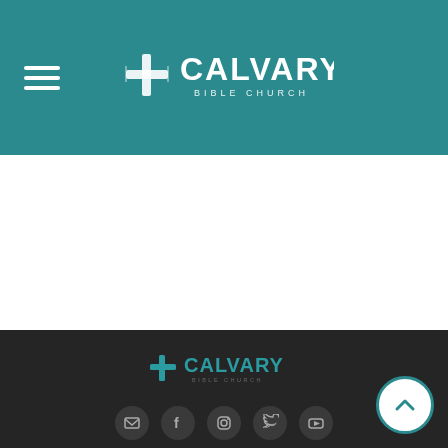[Figure (logo): Calvary Bible Church logo in header — white cross icon with CALVARY text and BIBLE CHURCH subtitle on teal background with hamburger menu icon on left]
[Figure (logo): Calvary Bible Church logo in footer — teal cross icon with CALVARY text on dark background]
[Figure (infographic): Row of five social media icon buttons: email, Facebook, Instagram, Twitter, YouTube — on dark background]
1450 Oakridge Rd PO Box 799 Neenah, WI | (920) 725-3896